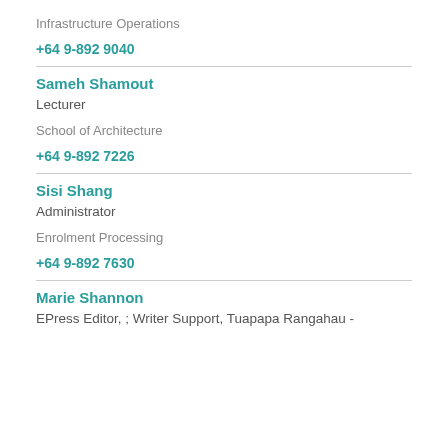Infrastructure Operations
+64 9-892 9040
Sameh Shamout
Lecturer
School of Architecture
+64 9-892 7226
Sisi Shang
Administrator
Enrolment Processing
+64 9-892 7630
Marie Shannon
EPress Editor, ; Writer Support, Tuapapa Rangahau -